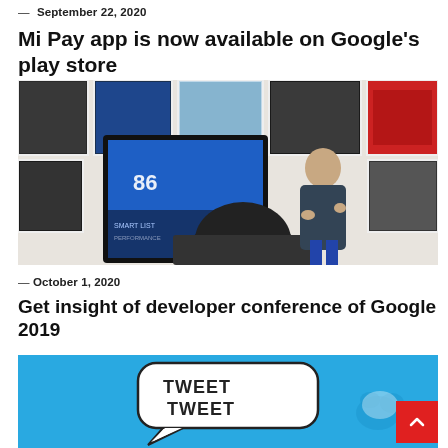— September 22, 2020
Mi Pay app is now available on Google's play store
[Figure (photo): A person presenting near a large tablet/display in a gallery-like space with framed photos on the wall behind them; another person in the foreground viewing the presentation.]
— October 1, 2020
Get insight of developer conference of Google 2019
[Figure (illustration): Blue background illustration with speech bubble containing the text 'TWEET TWEET' and a Twitter bird logo on the right side.]